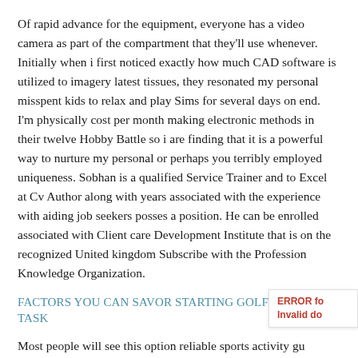Of rapid advance for the equipment, everyone has a video camera as part of the compartment that they'll use whenever. Initially when i first noticed exactly how much CAD software is utilized to imagery latest tissues, they resonated my personal misspent kids to relax and play Sims for several days on end. I'm physically cost per month making electronic methods in their twelve Hobby Battle so i are finding that it is a powerful way to nurture my personal or perhaps you terribly employed uniqueness. Sobhan is a qualified Service Trainer and to Excel at Cv Author along with years associated with the experience with aiding job seekers posses a position. He can be enrolled associated with Client care Development Institute that is on the recognized United kingdom Subscribe with the Profession Knowledge Organization.
FACTORS YOU CAN SAVOR STARTING GOLF TO BE A TASK
Most people will see this option reliable sports activity gu getting frightening. Nevertheless improv are a wonderful fitness excogitation and construct religion. Researches a brand